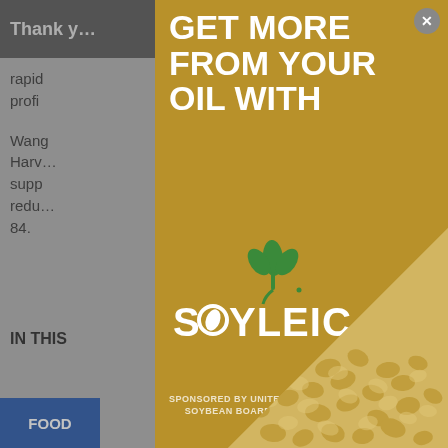Thank you   ...ools you
rapid...comp
profi...761-7
Wang...H.L.,
Harve...d, P.C.
supp...spinach
redu...Neur
84.
IN THIS
FOOD
[Figure (advertisement): Soyleic oil advertisement modal overlay. Gold/olive background with large white bold text reading 'GET MORE FROM YOUR OIL WITH' and the Soyleic logo (green plant sprout icon above stylized text 'SOYLEIC' with a soybean replacing the O). Bottom half shows a close-up photo of soybeans. Text at bottom reads 'SPONSORED BY UNITED SOYBEAN BOARD'. Close button (X) in top right corner. 'Top' navigation button visible at bottom right of background page.]